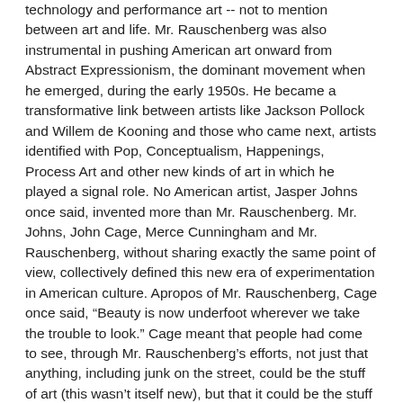technology and performance art -- not to mention between art and life. Mr. Rauschenberg was also instrumental in pushing American art onward from Abstract Expressionism, the dominant movement when he emerged, during the early 1950s. He became a transformative link between artists like Jackson Pollock and Willem de Kooning and those who came next, artists identified with Pop, Conceptualism, Happenings, Process Art and other new kinds of art in which he played a signal role. No American artist, Jasper Johns once said, invented more than Mr. Rauschenberg. Mr. Johns, John Cage, Merce Cunningham and Mr. Rauschenberg, without sharing exactly the same point of view, collectively defined this new era of experimentation in American culture. Apropos of Mr. Rauschenberg, Cage once said, “Beauty is now underfoot wherever we take the trouble to look.” Cage meant that people had come to see, through Mr. Rauschenberg’s efforts, not just that anything, including junk on the street, could be the stuff of art (this wasn’t itself new), but that it could be the stuff of an art aspiring to be beautiful -- that there was a potential poetics even in consumer glut, which Mr. Rauschenberg celebrated. ‘I really feel sorry for people who think things like soap dishes or mirrors or Coke